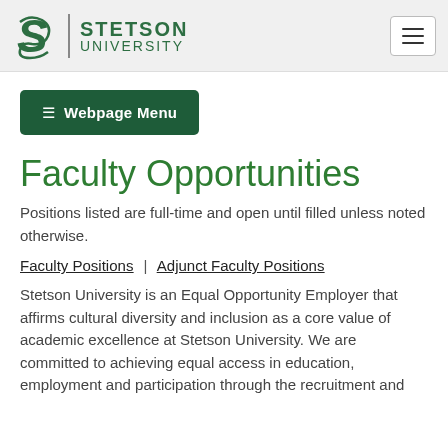[Figure (logo): Stetson University logo with green S emblem and university name, plus hamburger menu button on the right]
≡ Webpage Menu
Faculty Opportunities
Positions listed are full-time and open until filled unless noted otherwise.
Faculty Positions | Adjunct Faculty Positions
Stetson University is an Equal Opportunity Employer that affirms cultural diversity and inclusion as a core value of academic excellence at Stetson University. We are committed to achieving equal access in education, employment and participation through the recruitment and